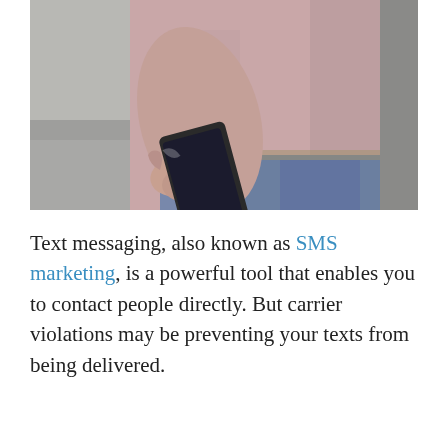[Figure (photo): A person holding a smartphone in one hand, viewed from the chest down. The person is wearing a light pink/mauve t-shirt and blue jeans, extending the phone outward as if to show it. Background is a blurred street/pavement scene.]
Text messaging, also known as SMS marketing, is a powerful tool that enables you to contact people directly. But carrier violations may be preventing your texts from being delivered.